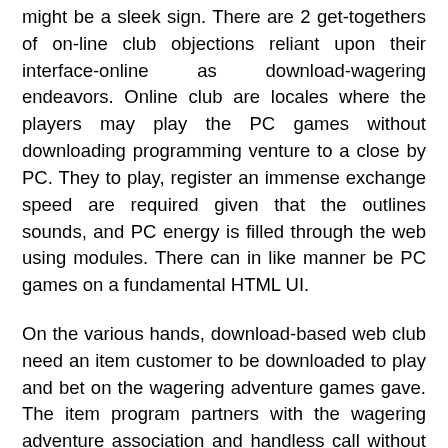might be a sleek sign. There are 2 get-togethers of on-line club objections reliant upon their interface-online as download-wagering endeavors. Online club are locales where the players may play the PC games without downloading programming venture to a close by PC. They to play, register an immense exchange speed are required given that the outlines sounds, and PC energy is filled through the web using modules. There can in like manner be PC games on a fundamental HTML UI.
On the various hands, download-based web club need an item customer to be downloaded to play and bet on the wagering adventure games gave. The item program partners with the wagering adventure association and handless call without web program maintain. Ordinarily, this kind of on-line club objections runs faster than online club since the outlines and moreover solid activities are arranged inside the item program client, not in the least like the last which is to be stacked from the Internet. The delineations as sounds are ordinarily in a manner that is superior to those in online club more often than not. In any case, like some other downloads, the starter download as plan requires time. In